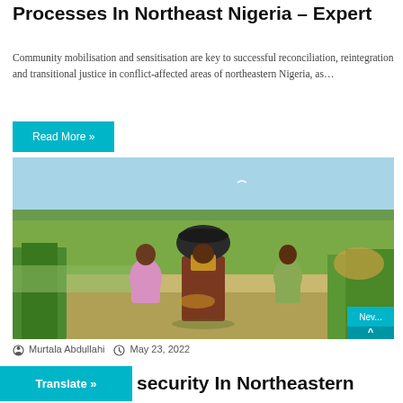Processes In Northeast Nigeria – Expert
Community mobilisation and sensitisation are key to successful reconciliation, reintegration and transitional justice in conflict-affected areas of northeastern Nigeria, as…
Read More »
[Figure (photo): Three people working in a green agricultural field under a bright sky. A woman in the center is lifting a large round basin above her head, pouring grain. A person in pink clothing stands to the left, and another person stands to the right. The landscape shows farmland with green plants and sandy soil.]
© Murtala Abdullahi   © May 23, 2022
C… …security In Northeastern